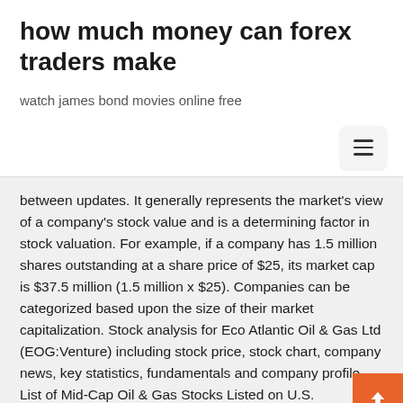how much money can forex traders make
watch james bond movies online free
between updates. It generally represents the market's view of a company's stock value and is a determining factor in stock valuation. For example, if a company has 1.5 million shares outstanding at a share price of $25, its market cap is $37.5 million (1.5 million x $25). Companies can be categorized based upon the size of their market capitalization. Stock analysis for Eco Atlantic Oil & Gas Ltd (EOG:Venture) including stock price, stock chart, company news, key statistics, fundamentals and company profile. List of Mid-Cap Oil & Gas Stocks Listed on U.S. Exchanges. This list includes mid-sized oil & gas companies with a market capitalization between two and ten billion dollars. We update this page at the start of every month so it is possible that a stock's market cap might fall below two billion dollars or